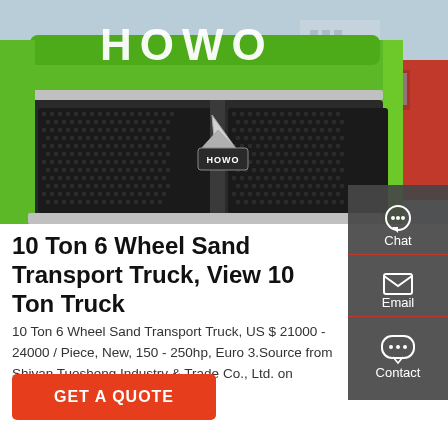[Figure (photo): Close-up front view of a green HOWO brand heavy truck showing the grille with HOWO logo badge and cab, with a red truck visible on the right side.]
10 Ton 6 Wheel Sand Transport Truck, View 10 Ton Truck
10 Ton 6 Wheel Sand Transport Truck, US $ 21000 - 24000 / Piece, New, 150 - 250hp, Euro 3.Source from Shiyan Tuosheng Industry & Trade Co., Ltd. on Alibaba.com.
GET A QUOTE